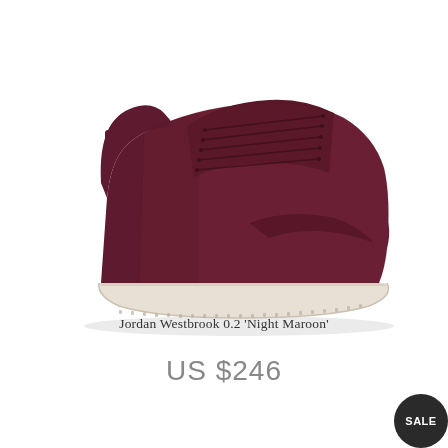[Figure (photo): Side view of a dark maroon/burgundy high-top sneaker (Jordan Westbrook 0.2 'Night Maroon') with textured upper and off-white/cream rubber sole, displayed against a white background.]
Jordan Westbrook 0.2 'Night Maroon'
US $246
[Figure (other): Dark circular SALE badge in bottom-right corner]